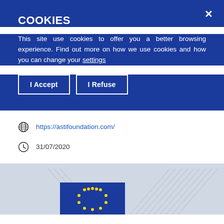COOKIES
This site use cookies to offer you a better browsing experience. Find out more on how we use cookies and how you can change your settings
I Accept
I Refuse
https://astifoundation.com/
31/07/2020
[Figure (logo): European Commission logo with EU flag and Berlaymont building watermark in footer]